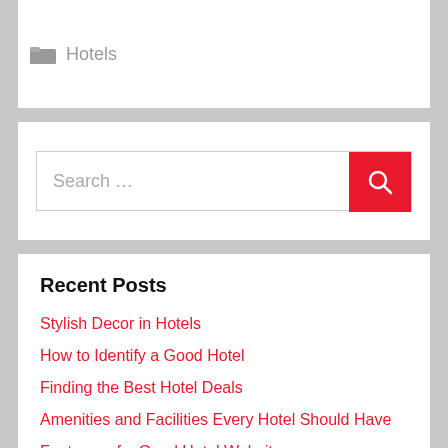Hotels
Search …
Recent Posts
Stylish Decor in Hotels
How to Identify a Good Hotel
Finding the Best Hotel Deals
Amenities and Facilities Every Hotel Should Have
Features of a Good Hotel Website